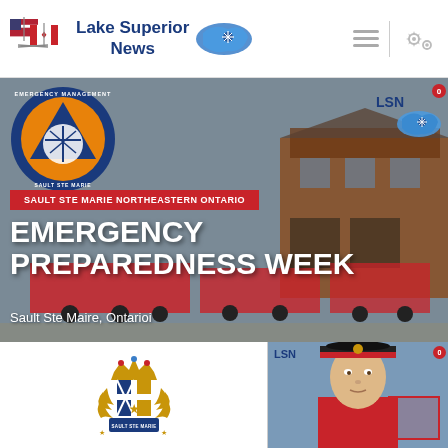Lake Superior News
[Figure (screenshot): Hero banner showing Emergency Preparedness Week for Sault Ste Marie Northeastern Ontario, with Emergency Management logo, fire station background, and red banner text]
EMERGENCY PREPAREDNESS WEEK
Sault Ste Maire, Ontarioi
[Figure (logo): Canadian police/law enforcement badge with crown and shield]
[Figure (photo): Police officer in uniform with red and black hat, LSN badge overlay]